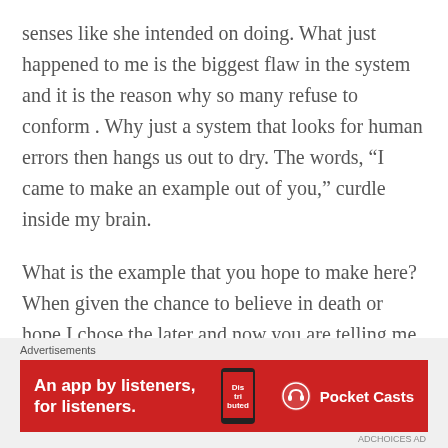senses like she intended on doing. What just happened to me is the biggest flaw in the system and it is the reason why so many refuse to conform . Why just a system that looks for human errors then hangs us out to dry. The words, “I came to make an example out of you,” curdle inside my brain.
What is the example that you hope to make here? When given the chance to believe in death or hope I chose the later and now you are telling me I went against THE expert advice? The EXPERT in question never told me that calling you was the option. In fact she had no problem collecting an additional $300
Advertisements
[Figure (other): Pocket Casts advertisement banner with red background. Text reads: An app by listeners, for listeners. Shows a smartphone with the Pocket Casts app (Distributed text on screen) and the Pocket Casts logo with name.]